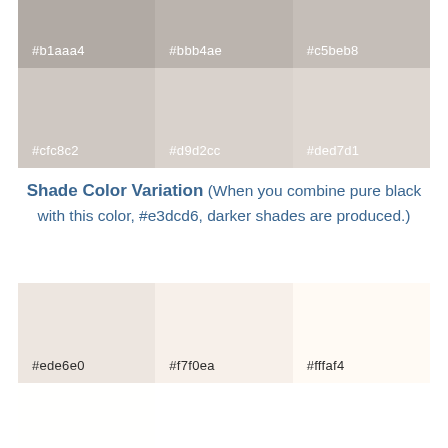[Figure (infographic): Color swatches grid showing tint variations. Row 1: #b1aaa4, #bbb4ae, #c5beb8 (darker warm gray tones). Row 2: #cfc8c2, #d9d2cc, #ded7d1 (medium warm gray tones).]
Shade Color Variation (When you combine pure black with this color, #e3dcd6, darker shades are produced.)
[Figure (infographic): Color swatches grid showing shade variations. Row 1: #ede6e0, #f7f0ea, #fffaf4. Row 2: #fffffe, #ffffff, #ffffff.]